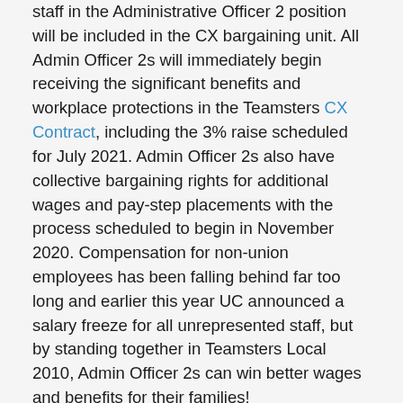staff in the Administrative Officer 2 position will be included in the CX bargaining unit. All Admin Officer 2s will immediately begin receiving the significant benefits and workplace protections in the Teamsters CX Contract, including the 3% raise scheduled for July 2021. Admin Officer 2s also have collective bargaining rights for additional wages and pay-step placements with the process scheduled to begin in November 2020. Compensation for non-union employees has been falling behind far too long and earlier this year UC announced a salary freeze for all unrepresented staff, but by standing together in Teamsters Local 2010, Admin Officer 2s can win better wages and benefits for their families!
As a result of the PERB ruling, Admin Officer 2s are now united with more than 14,000 clerical, administrative and skilled trades workers in Local 2010, who provide critical public services at every UC and CSU campus, medical center and laboratory throughout the state, as well as 1.4 million Teamster members in the U.S. and Canada. In addition to raising wages and increasing benefits through collective bargaining, Unions bring democracy